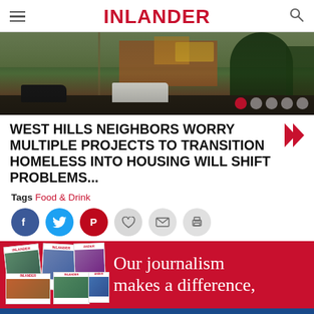INLANDER
[Figure (photo): Street scene with commercial buildings, trees, and parked vehicles. Slideshow navigation dots visible in lower right.]
WEST HILLS NEIGHBORS WORRY MULTIPLE PROJECTS TO TRANSITION HOMELESS INTO HOUSING WILL SHIFT PROBLEMS...
Tags Food & Drink
[Figure (infographic): Social sharing buttons: Facebook, Twitter, Pinterest, Like (heart), Email, Print]
[Figure (infographic): Inlander subscription ad banner: stack of Inlander magazine covers on left, text 'Our journalism makes a difference,' on red background]
[Figure (infographic): Numerica Credit Union ad: 9-month CD special 1.10% APY. Terms and conditions may apply. Federally insured by NCUA.]